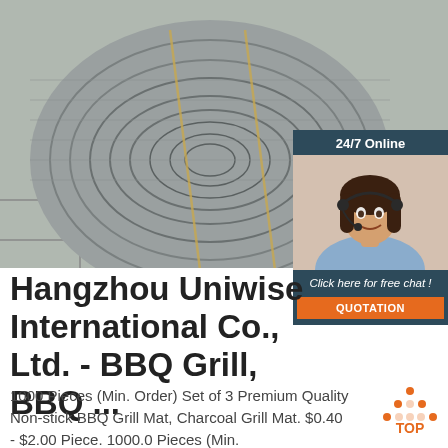[Figure (photo): Large coil of silver/metallic wire or cable stacked on a tiled floor, occupying the upper portion of the page]
[Figure (infographic): 24/7 Online live chat widget with a smiling woman wearing a headset, dark blue background, with 'Click here for free chat!' text and an orange QUOTATION button]
Hangzhou Uniwise International Co., Ltd. - BBQ Grill, BBQ ...
1000 Pieces (Min. Order) Set of 3 Premium Quality Non-stick BBQ Grill Mat, Charcoal Grill Mat. $0.40 - $2.00 Piece. 1000.0 Pieces (Min.
[Figure (illustration): Orange and white TOP button/logo with dot pattern above text]